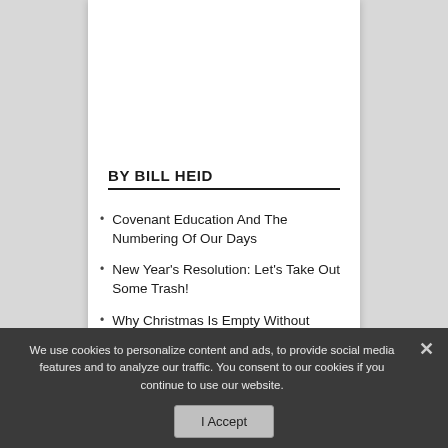BY BILL HEID
Covenant Education And The Numbering Of Our Days
New Year's Resolution: Let's Take Out Some Trash!
Why Christmas Is Empty Without Context
The True Christmas Story Of Our Messiah, Savior, And Hero
We use cookies to personalize content and ads, to provide social media features and to analyze our traffic. You consent to our cookies if you continue to use our website.